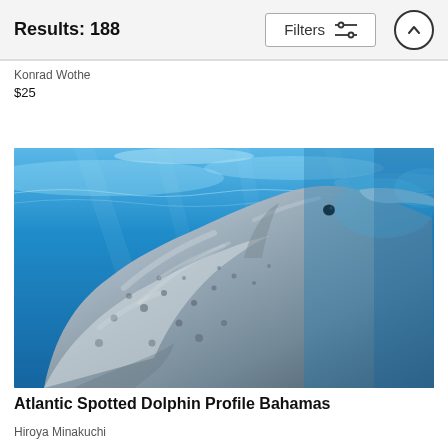Results: 188  Filters
Konrad Wothe
$25
[Figure (photo): Underwater photograph of an Atlantic Spotted Dolphin photographed in profile in clear blue water, Bahamas. The dolphin fills most of the frame, viewed from below, with sunlight rippling through the water surface above.]
Atlantic Spotted Dolphin Profile Bahamas
Hiroya Minakuchi